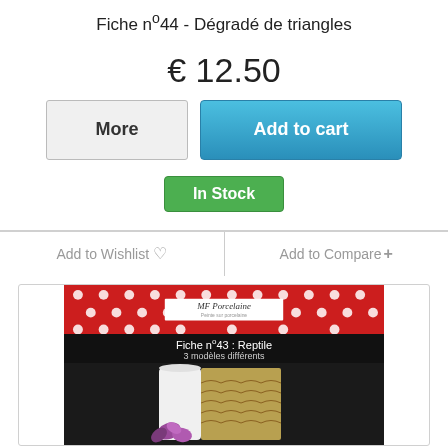Fiche n°44 - Dégradé de triangles
€ 12.50
More | Add to cart
In Stock
Add to Wishlist ♡   |   Add to Compare+
[Figure (photo): Product image showing MF Porcelaine brand label on red polka dot background with 'Fiche n°43 : Reptile - 3 modèles différents' text, and a lower section with a reptile-pattern decorated cylindrical object and flower.]